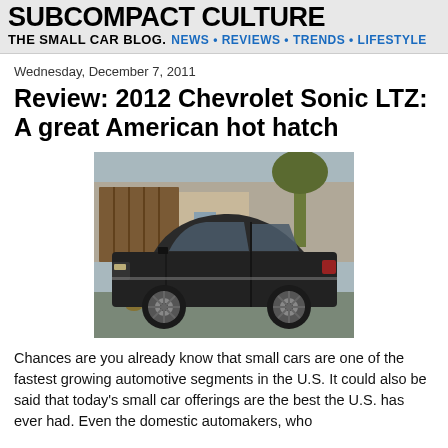SUBCOMPACT CULTURE THE SMALL CAR BLOG. NEWS · REVIEWS · TRENDS · LIFESTYLE
Wednesday, December 7, 2011
Review: 2012 Chevrolet Sonic LTZ: A great American hot hatch
[Figure (photo): Side profile photo of a black 2012 Chevrolet Sonic LTZ hatchback parked on a wet street with houses, a wooden fence, and trees in the background on a rainy day.]
Chances are you already know that small cars are one of the fastest growing automotive segments in the U.S. It could also be said that today's small car offerings are the best the U.S. has ever had. Even the domestic automakers, who